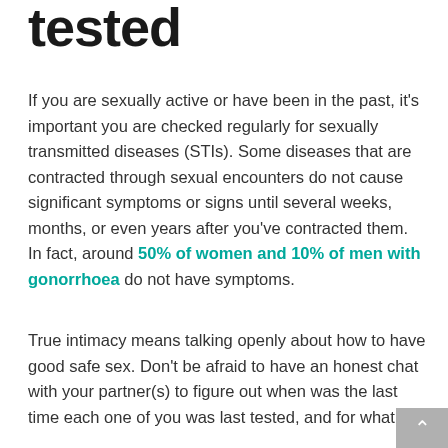tested
If you are sexually active or have been in the past, it's important you are checked regularly for sexually transmitted diseases (STIs). Some diseases that are contracted through sexual encounters do not cause significant symptoms or signs until several weeks, months, or even years after you've contracted them. In fact, around 50% of women and 10% of men with gonorrhoea do not have symptoms.
True intimacy means talking openly about how to have good safe sex. Don't be afraid to have an honest chat with your partner(s) to figure out when was the last time each one of you was last tested, and for what